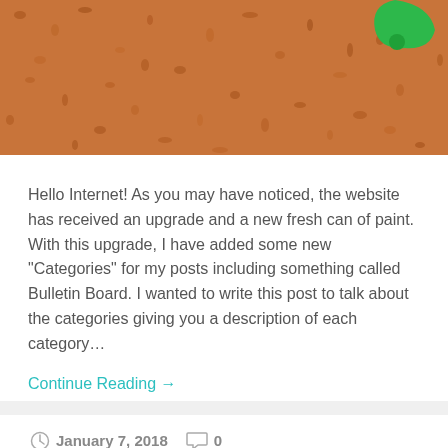[Figure (photo): Cork bulletin board texture with a green thumbtack/pin in the upper right corner.]
Hello Internet! As you may have noticed, the website has received an upgrade and a new fresh can of paint. With this upgrade, I have added some new "Categories" for my posts including something called Bulletin Board. I wanted to write this post to talk about the categories giving you a description of each category…
Continue Reading →
January 7, 2018   0